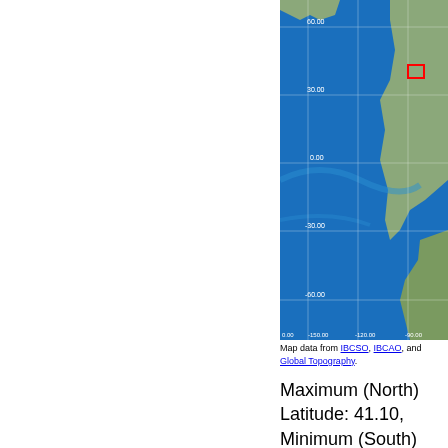[Figure (map): Bathymetric and topographic world map showing the Pacific Ocean region, with latitude/longitude grid lines. Labels: 60.00, 30.00, 0.00, -30.00, -60.00 on vertical axis; 0.00, -150.00, -120.00, -90.00 on horizontal axis. A red rectangle highlights a region in the southwestern United States.]
Map data from IBCSO, IBCAO, and Global Topography.
Maximum (North) Latitude: 41.10, Minimum (South) Latitude: 39.92 Minimum (West) Longitude: -105.12, Maximum (East)